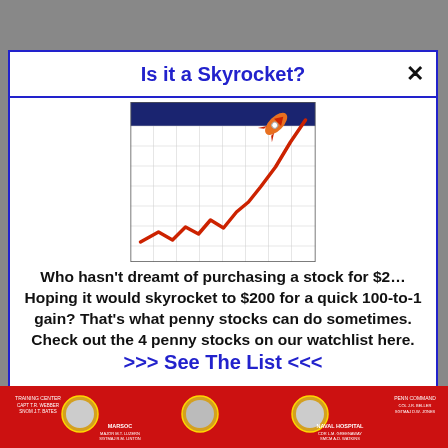Is it a Skyrocket?
[Figure (line-chart): A line chart icon showing a rising red line trending upward sharply, set against a white grid background with a dark blue header bar. A rocket appears launching from the upper right corner of the chart.]
Who hasn't dreamt of purchasing a stock for $2… Hoping it would skyrocket to $200 for a quick 100-to-1 gain? That's what penny stocks can do sometimes. Check out the 4 penny stocks on our watchlist here.
>>> See The List <<<
[Figure (photo): A red banner/strip at the bottom showing military unit badges and text including Training Center, MARSOC, Naval Hospital and other military insignia on a red background.]